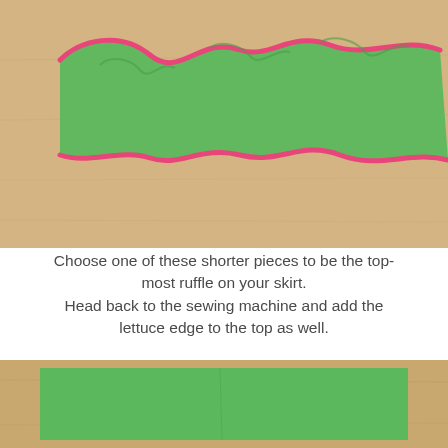[Figure (photo): A wavy green fabric ruffle with pink lettuce edge stitching along both top and bottom edges, photographed on a light wood surface.]
Choose one of these shorter pieces to be the top-most ruffle on your skirt. Head back to the sewing machine and add the lettuce edge to the top as well.
[Figure (photo): A flat piece of bright green fabric laid on a light wood surface, showing the rectangular fabric piece before ruffling.]